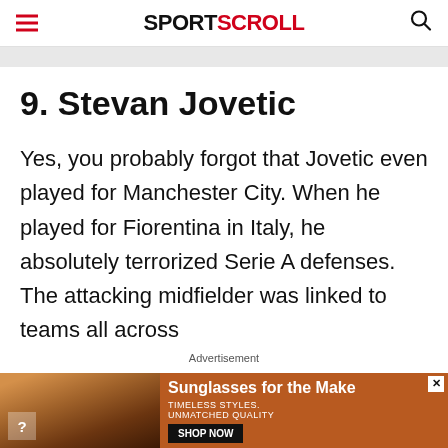SPORTSCROLL
9. Stevan Jovetic
Yes, you probably forgot that Jovetic even played for Manchester City. When he played for Fiorentina in Italy, he absolutely terrorized Serie A defenses. The attacking midfielder was linked to teams all across
Advertisement
[Figure (photo): Advertisement banner for sunglasses featuring two women wearing sunglasses with text 'Sunglasses for the Make', 'TIMELESS STYLES. UNMATCHED QUALITY', and a 'SHOP NOW' button]